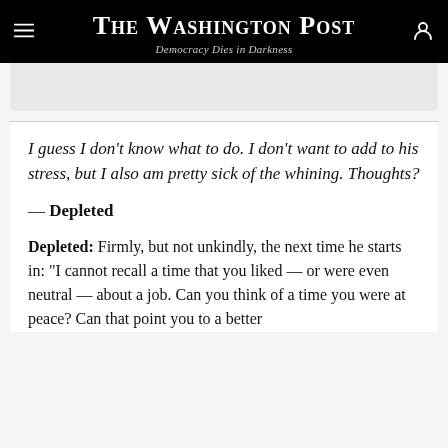The Washington Post
Democracy Dies in Darkness
[Figure (other): Gray placeholder image box]
I guess I don't know what to do. I don't want to add to his stress, but I also am pretty sick of the whining. Thoughts?
— Depleted
Depleted: Firmly, but not unkindly, the next time he starts in: “I cannot recall a time that you liked — or were even neutral — about a job. Can you think of a time you were at peace? Can that point you to a better